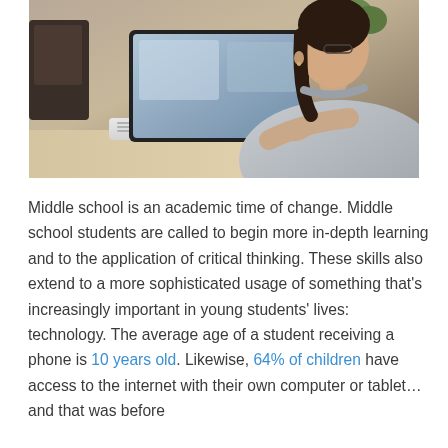[Figure (photo): A young female student sitting at a desk using a laptop computer, viewed from the side, wearing a grey sweater. Plants and a dark piece of furniture are visible in the background.]
Middle school is an academic time of change. Middle school students are called to begin more in-depth learning and to the application of critical thinking. These skills also extend to a more sophisticated usage of something that's increasingly important in young students' lives: technology. The average age of a student receiving a phone is 10 years old. Likewise, 64% of children have access to the internet with their own computer or tablet… and that was before